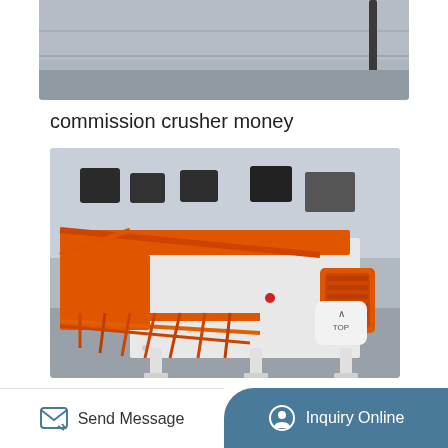[Figure (photo): Top partial photo of machinery/equipment in an industrial setting, gray concrete wall background]
commission crusher money
[Figure (photo): Orange and white industrial vibrating feeder or screening equipment on white legs, in a factory/warehouse setting. Equipment has orange painted steel frame with horizontal bars/grates, white side panels with bolts, and an orange electric motor on the right side.]
Send Message | Inquiry Online